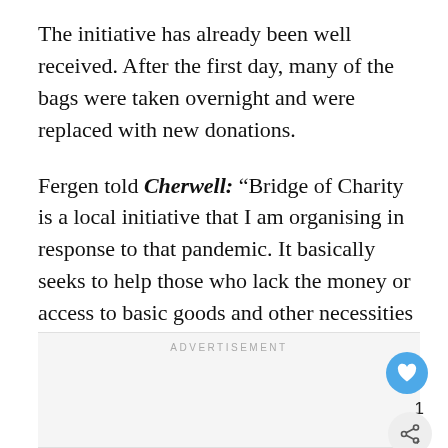The initiative has already been well received. After the first day, many of the bags were taken overnight and were replaced with new donations.
Fergen told Cherwell: “Bridge of Charity is a local initiative that I am organising in response to that pandemic. It basically seeks to help those who lack the money or access to basic goods and other necessities in these difficult times.
ADVERTISEMENT